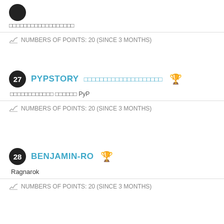[Figure (other): Dark circular avatar/badge (partial, top of page)]
□□□□□□□□□□□□□□□□□□
NUMBERS OF POINTS: 20 (SINCE 3 MONTHS)
27  PYPSTORY  □□□□□□□□□□□□□□□□□□□□  🏆
□□□□□□□□□□□□ □□□□□□ PyP
NUMBERS OF POINTS: 20 (SINCE 3 MONTHS)
28  BENJAMIN-RO  🏆
Ragnarok
NUMBERS OF POINTS: 20 (SINCE 3 MONTHS)